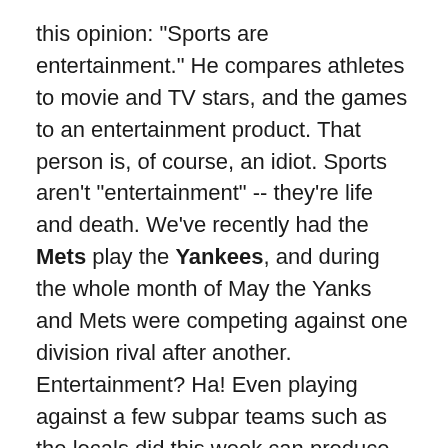this opinion: "Sports are entertainment." He compares athletes to movie and TV stars, and the games to an entertainment product. That person is, of course, an idiot. Sports aren't "entertainment" -- they're life and death. We've recently had the Mets play the Yankees, and during the whole month of May the Yanks and Mets were competing against one division rival after another. Entertainment? Ha! Even playing against a few subpar teams such as the locals did this week can produce much agita. Does watching a King of Queens rerun entice you to scream and curse at the TV? And throw the remote control through a plate-glass window? Does it send you into a melancholic downward spiral if the episode isn't any good? No, but the sight of lumberjack Corey Hart hitting home run after home run against the Mets can do that. And so can an umpire blowing a call to ruin a perfect game